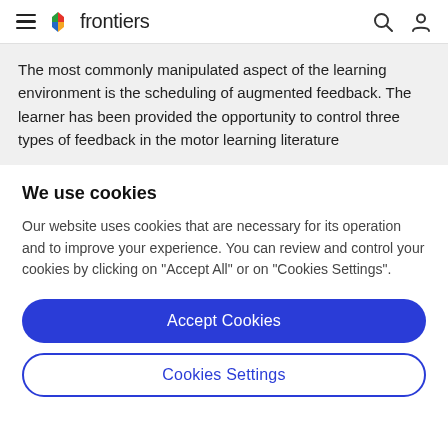frontiers
The most commonly manipulated aspect of the learning environment is the scheduling of augmented feedback. The learner has been provided the opportunity to control three types of feedback in the motor learning literature
We use cookies
Our website uses cookies that are necessary for its operation and to improve your experience. You can review and control your cookies by clicking on "Accept All" or on "Cookies Settings".
Accept Cookies
Cookies Settings